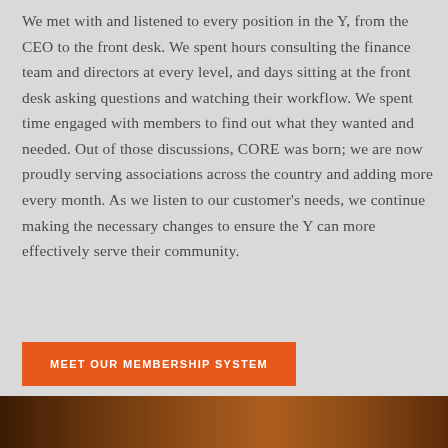We met with and listened to every position in the Y, from the CEO to the front desk. We spent hours consulting the finance team and directors at every level, and days sitting at the front desk asking questions and watching their workflow. We spent time engaged with members to find out what they wanted and needed. Out of those discussions, CORE was born; we are now proudly serving associations across the country and adding more every month. As we listen to our customer's needs, we continue making the necessary changes to ensure the Y can more effectively serve their community.
MEET OUR MEMBERSHIP SYSTEM
[Figure (photo): Dark warm-toned photo strip at the bottom of the page, showing an indoor scene with orange and brown hues]